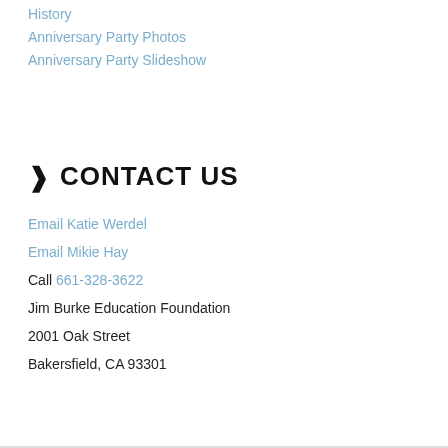History
Anniversary Party Photos
Anniversary Party Slideshow
CONTACT US
Email Katie Werdel
Email Mikie Hay
Call 661-328-3622
Jim Burke Education Foundation
2001 Oak Street
Bakersfield, CA 93301